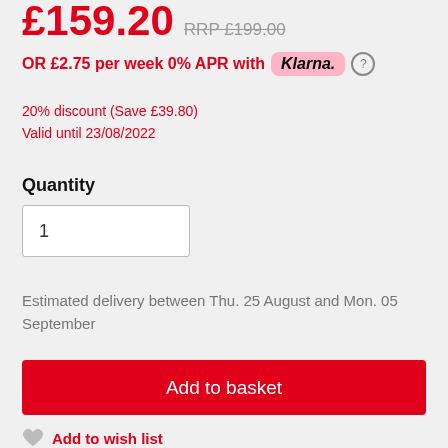£159.20  RRP £199.00
OR £2.75 per week 0% APR with Klarna.
20% discount (Save £39.80)
Valid until 23/08/2022
Quantity
1
Estimated delivery between Thu. 25 August and Mon. 05 September
Add to basket
Add to wish list